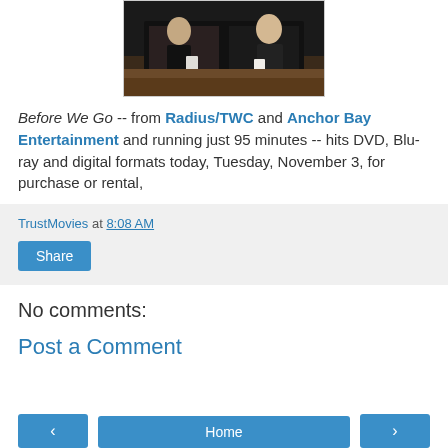[Figure (photo): A photo showing two people at what appears to be a counter or bar, darkly lit, cropped at top of page.]
Before We Go -- from Radius/TWC and Anchor Bay Entertainment and running just 95 minutes -- hits DVD, Blu-ray and digital formats today, Tuesday, November 3, for purchase or rental,
TrustMovies at 8:08 AM
Share
No comments:
Post a Comment
< Home >